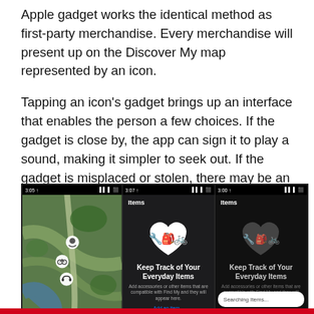Apple gadget works the identical method as first-party merchandise. Every merchandise will present up on the Discover My map represented by an icon.
Tapping an icon's gadget brings up an interface that enables the person a few choices. If the gadget is close by, the app can sign it to play a sound, making it simpler to seek out. If the gadget is misplaced or stolen, there may be an choice to lock it. As soon as locked, it can't be paired to a different account.
[Figure (screenshot): Three iPhone screenshots of the Find My app showing: 1) A satellite map view with device location icons pinned on a map, 2) The 'Items' tab light screen showing a heart icon with items and text 'Keep Track of Your Everyday Items', 3) The 'Items' tab dark screen showing the same heart icon and 'Keep Track of Your Everyday Items' with a 'Searching Items...' bar at the bottom.]